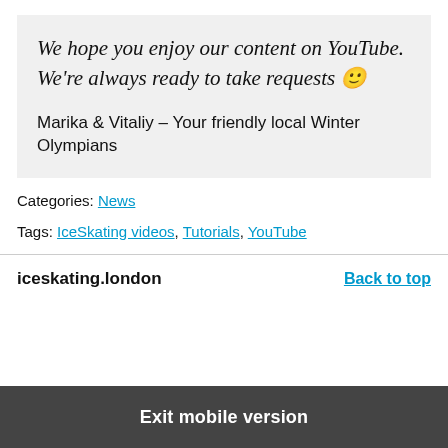We hope you enjoy our content on YouTube. We're always ready to take requests 🙂
Marika & Vitaliy – Your friendly local Winter Olympians
Categories: News
Tags: IceSkating videos, Tutorials, YouTube
iceskating.london
Back to top
Exit mobile version